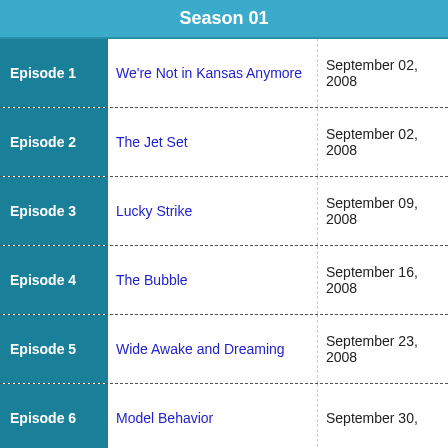Season 01
| Episode | Title | Air Date |
| --- | --- | --- |
| Episode 1 | We're Not in Kansas Anymore | September 02, 2008 |
| Episode 2 | The Jet Set | September 02, 2008 |
| Episode 3 | Lucky Strike | September 09, 2008 |
| Episode 4 | The Bubble | September 16, 2008 |
| Episode 5 | Wide Awake and Dreaming | September 23, 2008 |
| Episode 6 | Model Behavior | September 30, |